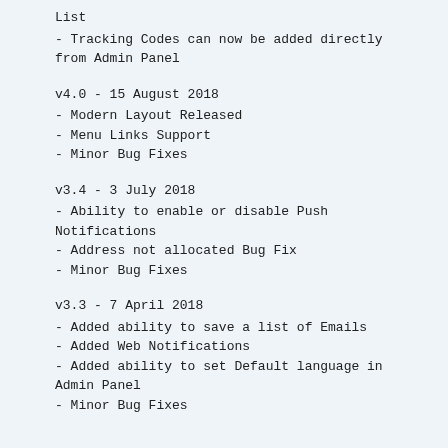List
- Tracking Codes can now be added directly from Admin Panel
v4.0 - 15 August 2018
- Modern Layout Released
- Menu Links Support
- Minor Bug Fixes
v3.4 - 3 July 2018
- Ability to enable or disable Push Notifications
- Address not allocated Bug Fix
- Minor Bug Fixes
v3.3 - 7 April 2018
- Added ability to save a list of Emails
- Added Web Notifications
- Added ability to set Default language in Admin Panel
- Minor Bug Fixes